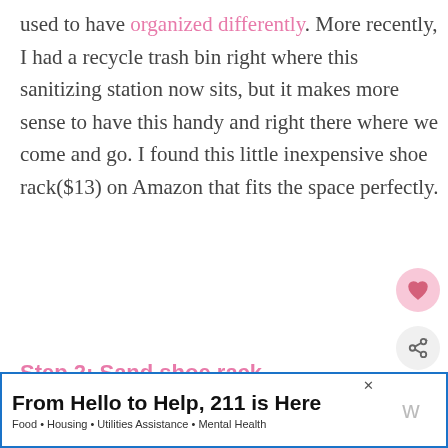used to have organized differently. More recently, I had a recycle trash bin right where this sanitizing station now sits, but it makes more sense to have this handy and right there where we come and go. I found this little inexpensive shoe rack($13) on Amazon that fits the space perfectly.
Step 2: Sand shoe rack
TIME: 20-30 minutes
[Figure (other): What's Next promo thumbnail showing candle image with text 'How to Make a Glitter Candl...']
From Hello to Help, 211 is Here Food • Housing • Utilities Assistance • Mental Health